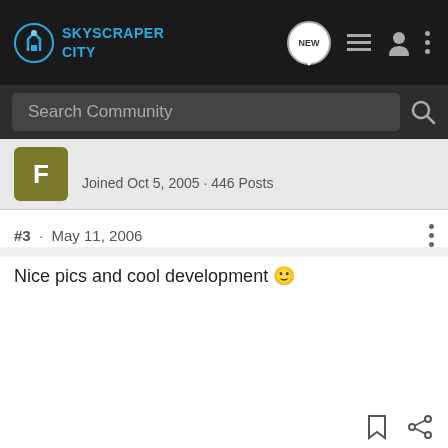SkyscraperCity
Search Community
Joined Oct 5, 2005 · 446 Posts
#3 · May 11, 2006
Nice pics and cool development 🙂
Tiaren · Registered
Joined Jan 29, 2006 · 4,279 Posts